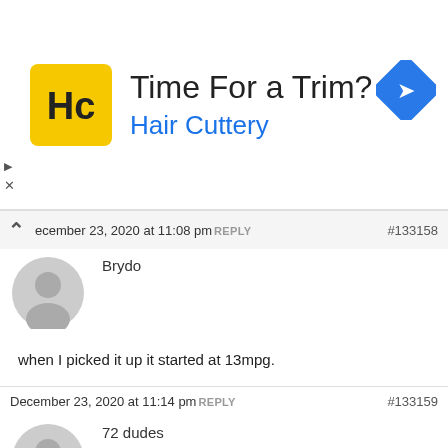[Figure (other): Hair Cuttery advertisement banner with yellow logo, 'Time For a Trim?' headline, 'Hair Cuttery' subtitle in blue, and a blue navigation arrow icon on the right]
December 23, 2020 at 11:08 pm REPLY #133158
Brydo
when I picked it up it started at 13mpg.
December 23, 2020 at 11:14 pm REPLY #133159
72 dudes
That includes all the shunting around at the dealer, coming off the transporter, PDI etc.